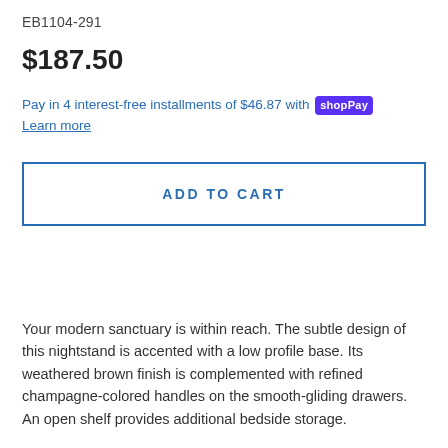EB1104-291
$187.50
Pay in 4 interest-free installments of $46.87 with shop Pay
Learn more
ADD TO CART
Your modern sanctuary is within reach. The subtle design of this nightstand is accented with a low profile base. Its weathered brown finish is complemented with refined champagne-colored handles on the smooth-gliding drawers. An open shelf provides additional bedside storage.